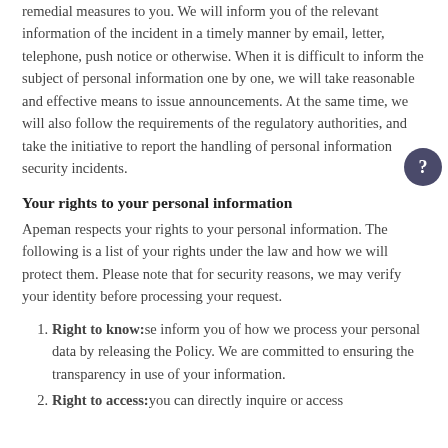remedial measures to you. We will inform you of the relevant information of the incident in a timely manner by email, letter, telephone, push notice or otherwise. When it is difficult to inform the subject of personal information one by one, we will take reasonable and effective means to issue announcements. At the same time, we will also follow the requirements of the regulatory authorities, and take the initiative to report the handling of personal information security incidents.
Your rights to your personal information
Apeman respects your rights to your personal information. The following is a list of your rights under the law and how we will protect them. Please note that for security reasons, we may verify your identity before processing your request.
Right to know: se inform you of how we process your personal data by releasing the Policy. We are committed to ensuring the transparency in use of your information.
Right to access: you can directly inquire or access